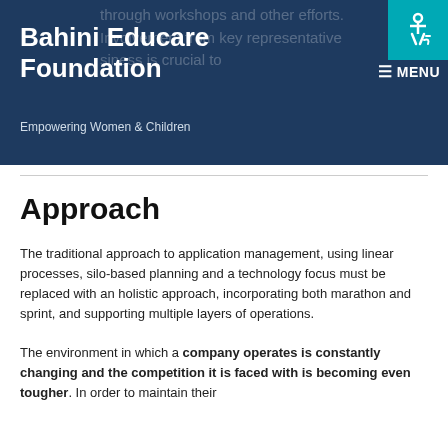Bahini Educare Foundation – Empowering Women & Children
Approach
The traditional approach to application management, using linear processes, silo-based planning and a technology focus must be replaced with an holistic approach, incorporating both marathon and sprint, and supporting multiple layers of operations.
The environment in which a company operates is constantly changing and the competition it is faced with is becoming even tougher. In order to maintain their